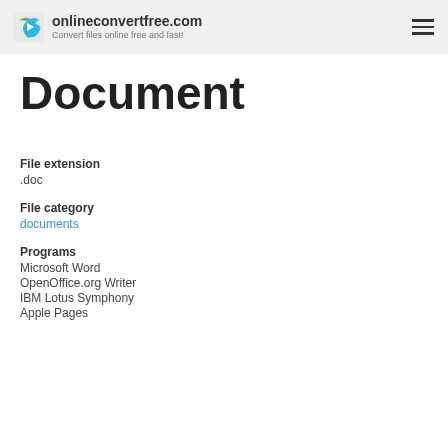onlineconvertfree.com – Convert files online free and fast!
Document
File extension
.doc
File category
documents
Programs
Microsoft Word
OpenOffice.org Writer
IBM Lotus Symphony
Apple Pages